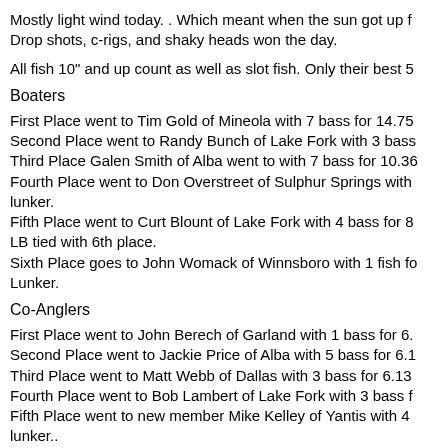Mostly light wind today. . Which meant when the sun got up f Drop shots, c-rigs, and shaky heads won the day.
All fish 10" and up count as well as slot fish. Only their best 5
Boaters
First Place went to Tim Gold of Mineola with 7 bass for 14.75 Second Place went to Randy Bunch of Lake Fork with 3 bass Third Place Galen Smith of Alba went to with 7 bass for 10.36 Fourth Place went to Don Overstreet of Sulphur Springs with lunker. Fifth Place went to Curt Blount of Lake Fork with 4 bass for 8 LB tied with 6th place. Sixth Place goes to John Womack of Winnsboro with 1 fish fo Lunker.
Co-Anglers
First Place went to John Berech of Garland with 1 bass for 6. Second Place went to Jackie Price of Alba with 5 bass for 6.1 Third Place went to Matt Webb of Dallas with 3 bass for 6.13 Fourth Place went to Bob Lambert of Lake Fork with 3 bass f Fifth Place went to new member Mike Kelley of Yantis with 4 lunker..
We caught 85 keepers today which was more than last time v